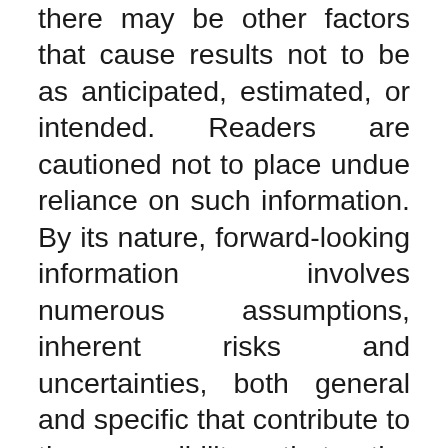there may be other factors that cause results not to be as anticipated, estimated, or intended. Readers are cautioned not to place undue reliance on such information. By its nature, forward-looking information involves numerous assumptions, inherent risks and uncertainties, both general and specific that contribute to the possibility that the predictions, forecasts, and projections of various future events will not occur. The Company undertakes no obligation to update publicly or otherwise revise any forward-looking information whether as a result of new information, future events or other such factors which affect this information, except as required